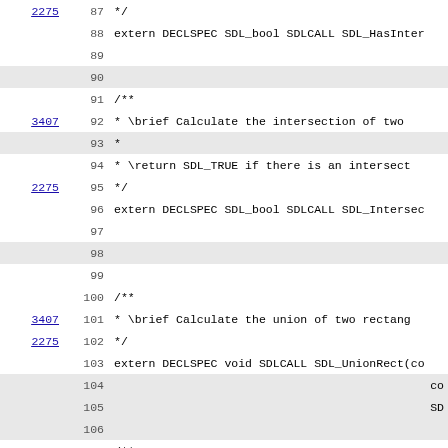| ref | line | code |
| --- | --- | --- |
| 2275 | 87 | */ |
|  | 88 | extern DECLSPEC SDL_bool SDLCALL SDL_HasInter |
|  | 89 |  |
|  | 90 |  |
|  | 91 | /** |
| 3407 | 92 | *  \brief Calculate the intersection of two |
|  | 93 | * |
|  | 94 | *  \return SDL_TRUE if there is an intersect |
| 2275 | 95 | */ |
|  | 96 | extern DECLSPEC SDL_bool SDLCALL SDL_Intersec |
|  | 97 |  |
|  | 98 |  |
|  | 99 |  |
|  | 100 | /** |
| 3407 | 101 | *  \brief Calculate the union of two rectang |
| 2275 | 102 | */ |
|  | 103 | extern DECLSPEC void SDLCALL SDL_UnionRect(co |
|  | 104 | co |
|  | 105 | SD |
|  | 106 |  |
| 2909 | 107 | /** |
| 3536 | 108 | *  \brief Calculate a minimal rectangle encl |